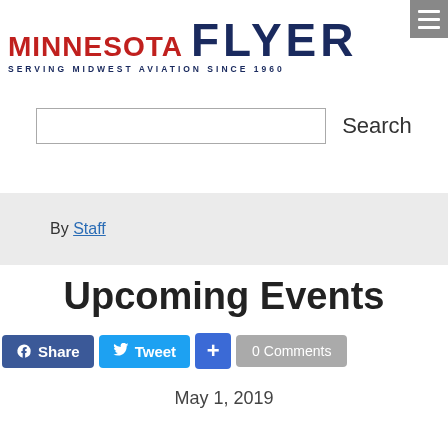MINNESOTA FLYER — SERVING MIDWEST AVIATION SINCE 1960
Search
By Staff
Upcoming Events
Share   Tweet   +   0 Comments
May 1, 2019